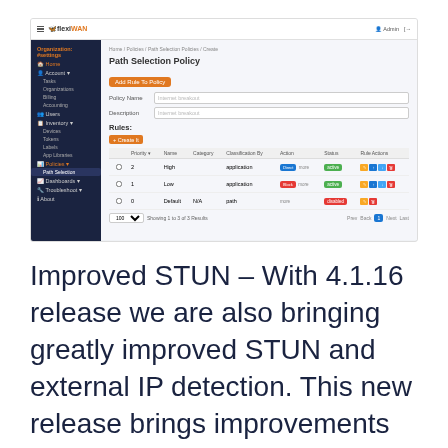[Figure (screenshot): FlexiWAN web UI screenshot showing Path Selection Policy page with a table listing three rules: High (priority 2, application), Low (priority 1, application), and Default (priority 0, N/A, path). Sidebar shows navigation menu with dark background.]
Improved STUN – With 4.1.16 release we are also bringing greatly improved STUN and external IP detection. This new release brings improvements and